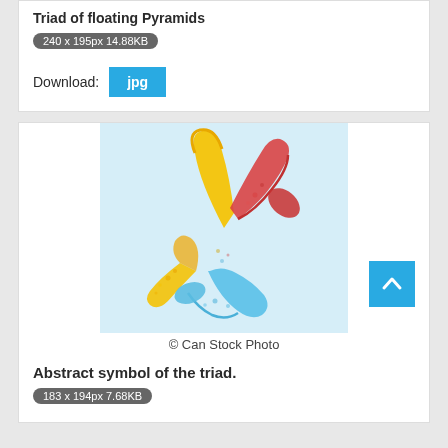Triad of floating Pyramids
240 x 195px 14.88KB
Download: jpg
[Figure (photo): Abstract symbol of the triad – three curved brushstroke shapes in yellow/orange, red, and blue arranged in a circular triad pattern on a light blue background. © Can Stock Photo]
© Can Stock Photo
Abstract symbol of the triad.
183 x 194px 7.68KB